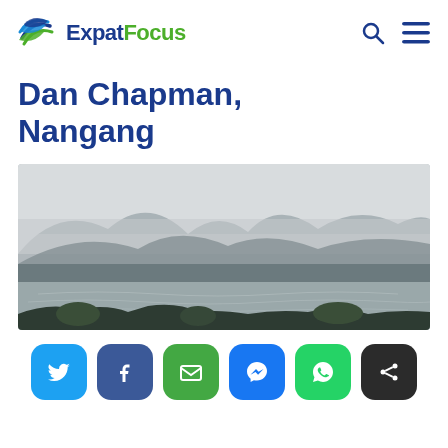ExpatFocus
Dan Chapman, Nangang
[Figure (photo): Misty mountain landscape with a lake or river in the foreground, surrounded by green hills obscured by low clouds and fog]
Social sharing buttons: Twitter, Facebook, Email, Messenger, WhatsApp, Share